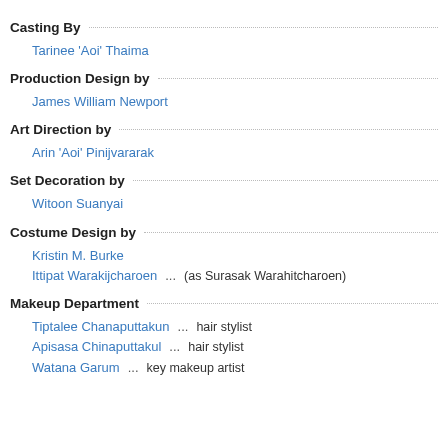Casting By
Tarinee 'Aoi' Thaima
Production Design by
James William Newport
Art Direction by
Arin 'Aoi' Pinijvararak
Set Decoration by
Witoon Suanyai
Costume Design by
Kristin M. Burke
Ittipat Warakijcharoen ... (as Surasak Warahitcharoen)
Makeup Department
Tiptalee Chanaputtakun ... hair stylist
Apisasa Chinaputtakul ... hair stylist
Watana Garum ... key makeup artist